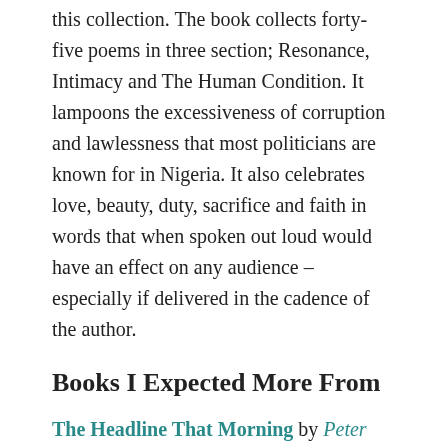this collection. The book collects forty-five poems in three section; Resonance, Intimacy and The Human Condition. It lampoons the excessiveness of corruption and lawlessness that most politicians are known for in Nigeria. It also celebrates love, beauty, duty, sacrifice and faith in words that when spoken out loud would have an effect on any audience – especially if delivered in the cadence of the author.
Books I Expected More From
The Headline That Morning by Peter Kagayi
Peter is one of the biggest names in poetry in